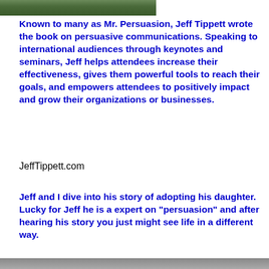[Figure (photo): Partial photo of a person, cropped at top of page]
Known to many as Mr. Persuasion, Jeff Tippett wrote the book on persuasive communications. Speaking to international audiences through keynotes and seminars, Jeff helps attendees increase their effectiveness, gives them powerful tools to reach their goals, and empowers attendees to positively impact and grow their organizations or businesses.
JeffTippett.com
Jeff and I dive into his story of adopting his daughter. Lucky for Jeff he is a expert on "persuasion" and after hearing his story you just might see life in a different way.
[Figure (photo): Partial photo at the bottom of the page, cropped]